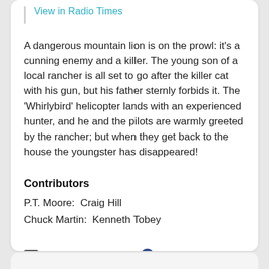View in Radio Times
A dangerous mountain lion is on the prowl: it's a cunning enemy and a killer. The young son of a local rancher is all set to go after the killer cat with his gun, but his father sternly forbids it. The 'Whirlybird' helicopter lands with an experienced hunter, and he and the pilots are warmly greeted by the rancher; but when they get back to the house the youngster has disappeared!
Contributors
P.T. Moore:  Craig Hill
Chuck Martin:  Kenneth Tobey
Source: Radio Times